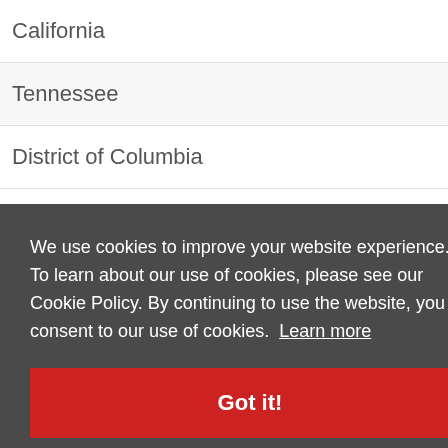California
Tennessee
District of Columbia
We use cookies to improve your website experience. To learn about our use of cookies, please see our Cookie Policy. By continuing to use the website, you consent to our use of cookies. Learn more
Got it!